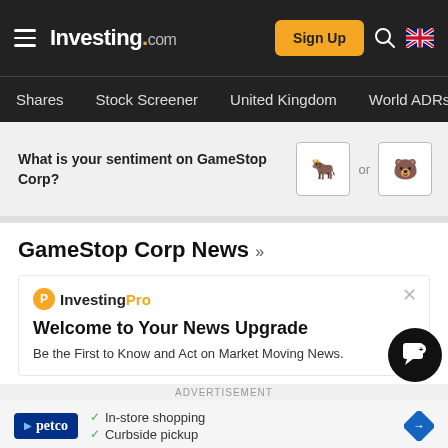Investing.com — navigation bar with Sign Up, Search, UK flag
Shares | Stock Screener | United Kingdom | World ADRs
What is your sentiment on GameStop Corp?
GameStop Corp News »
InvestingPro — Welcome to Your News Upgrade. Be the First to Know and Act on Market Moving News.
ADVERTISEMENT
In-store shopping • Curbside pickup (Petco advertisement)